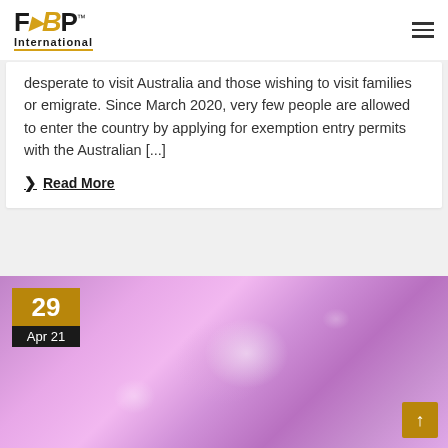[Figure (logo): FBP International logo with gold arrow between F and B, and 'International' text below with gold underline]
desperate to visit Australia and those wishing to visit families or emigrate. Since March 2020, very few people are allowed to enter the country by applying for exemption entry permits with the Australian [...]
Read More
[Figure (photo): Pink/purple nebula or moon-like astronomical image with glowing pink and white tones. Date badge showing '29' in gold and 'Apr 21' in black overlaid on bottom-left. Scroll-to-top arrow button in gold at bottom-right.]